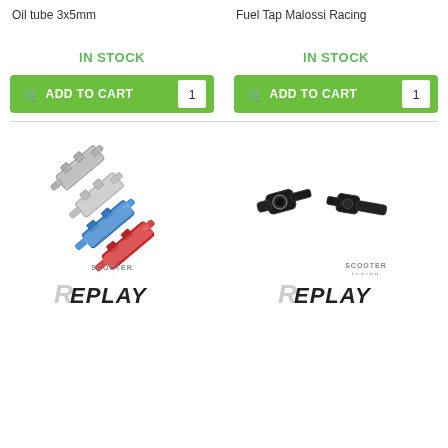Oil tube 3x5mm
Fuel Tap Malossi Racing
IN STOCK
ADD TO CART  1
IN STOCK
ADD TO CART  1
[Figure (photo): Three inline fuel filters arranged diagonally: two silver/chrome, one blue, one red, with Scooter Tuning watermark]
[Figure (logo): Replay brand logo in italic black with grey R]
[Figure (photo): Two black check valve / fuel tap parts arranged diagonally with Scooter Tuning watermark]
[Figure (logo): Replay brand logo in italic black with grey R]